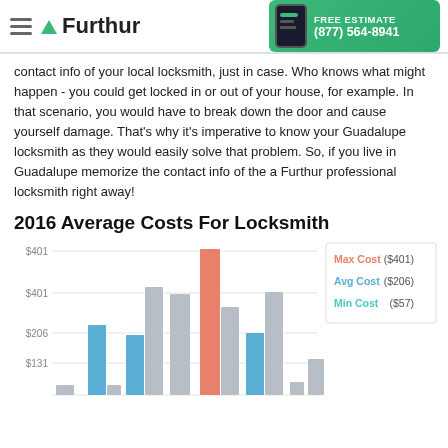Furthur | FREE ESTIMATE (877) 564-8941
contact info of your local locksmith, just in case. Who knows what might happen - you could get locked in or out of your house, for example. In that scenario, you would have to break down the door and cause yourself damage. That’s why it’s imperative to know your Guadalupe locksmith as they would easily solve that problem. So, if you live in Guadalupe memorize the contact info of the a Furthur professional locksmith right away!
2016 Average Costs For Locksmith
[Figure (bar-chart): 2016 Average Costs For Locksmith]